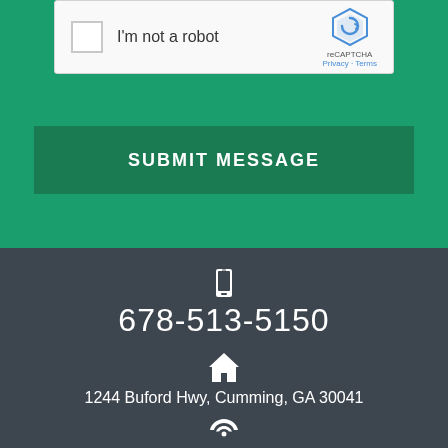[Figure (screenshot): reCAPTCHA widget with checkbox labeled 'I'm not a robot' and reCAPTCHA logo with Privacy and Terms links]
SUBMIT MESSAGE
678-513-5150
1244 Buford Hwy, Cumming, GA 30041